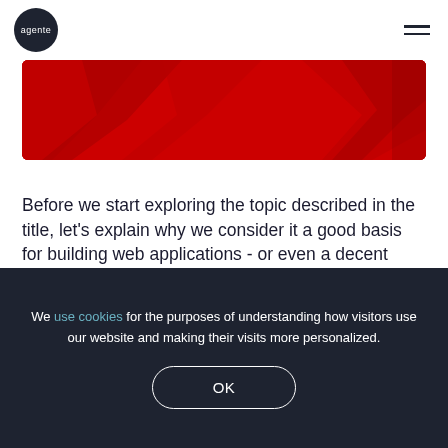agente
[Figure (photo): Red decorative band with geometric V-shapes, part of a website header image]
Before we start exploring the topic described in the title, let's explain why we consider it a good basis for building web applications - or even a decent backend
We use cookies for the purposes of understanding how visitors use our website and making their visits more personalized.
OK